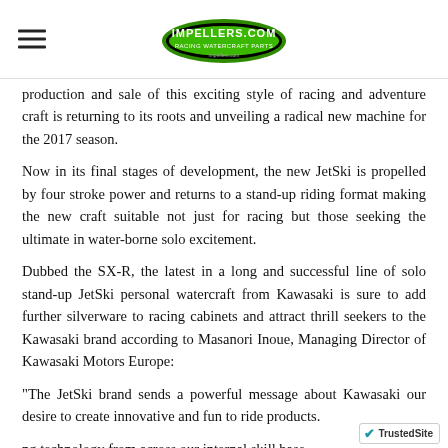[Impellers.com logo with hamburger menu]
production and sale of this exciting style of racing and adventure craft is returning to its roots and unveiling a radical new machine for the 2017 season.
Now in its final stages of development, the new JetSki is propelled by four stroke power and returns to a stand-up riding format making the new craft suitable not just for racing but those seeking the ultimate in water-borne solo excitement.
Dubbed the SX-R, the latest in a long and successful line of solo stand-up JetSki personal watercraft from Kawasaki is sure to add further silverware to racing cabinets and attract thrill seekers to the Kawasaki brand according to Masanori Inoue, Managing Director of Kawasaki Motors Europe:
“The JetSki brand sends a powerful message about Kawasaki our desire to create innovative and fun to ride products. ng technology from across our internal skill base